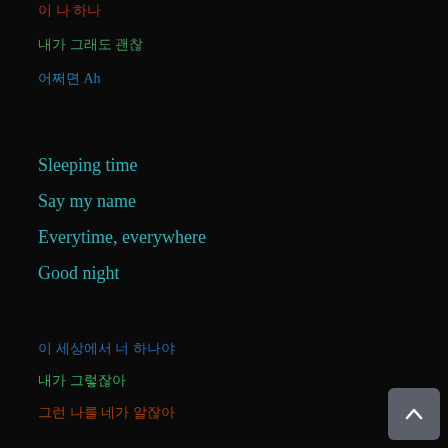이 나 하나
내가 그래도 괜찮
어쩌면 Ah
Sleeping time
Say my name
Everytime, everywhere
Good night
이 세상에서 너 하나야
내가 그렇잖아
그런 나를 네가 알잖아
이 밤에도 너 와
내가 너를 너 그래 너
그런 나에게 해줘 줘
어쩌다 이 세상에서 우리 둘
그래 Love
그런데 그래도
내가 너를 그냥 하잖아
그렇게 어쩌다가 그런 거
Full moon